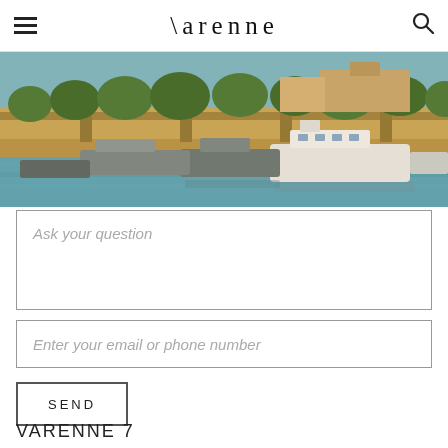Varenne
[Figure (photo): Waterfront scene with boats moored along a riverside quay, a bridge in the background, and trees lining the embankment, taken in warm daylight.]
Ask your question
Enter your email or phone number
SEND
VARENNE 7